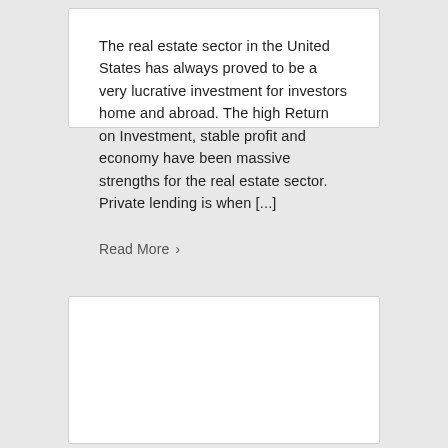The real estate sector in the United States has always proved to be a very lucrative investment for investors home and abroad. The high Return on Investment, stable profit and economy have been massive strengths for the real estate sector.  Private lending is when [...]
Read More ›